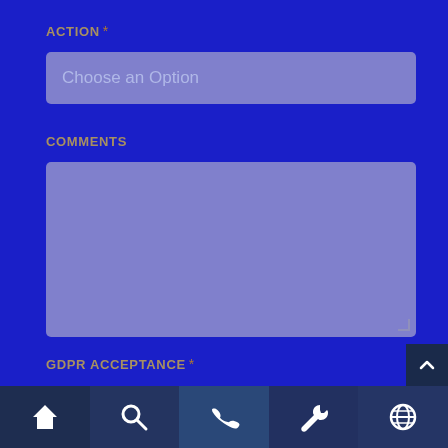ACTION *
[Figure (screenshot): Dropdown select field with placeholder text 'Choose an Option' on dark blue background]
COMMENTS
[Figure (screenshot): Large empty textarea input field on dark blue background]
GDPR ACCEPTANCE *
accept
By clicking accept, e... Group.
[Figure (infographic): Bottom navigation bar with five icons: home, search, phone, wrench/settings, globe]